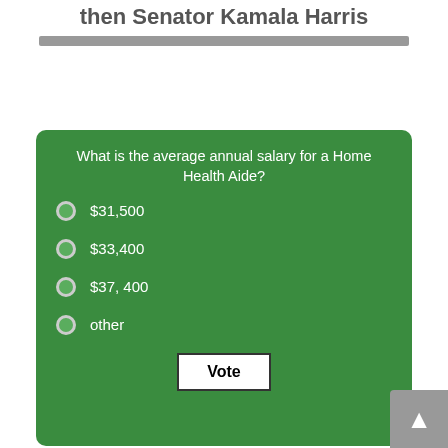then Senator Kamala Harris
What is the average annual salary for a Home Health Aide?
$31,500
$33,400
$37, 400
other
Vote